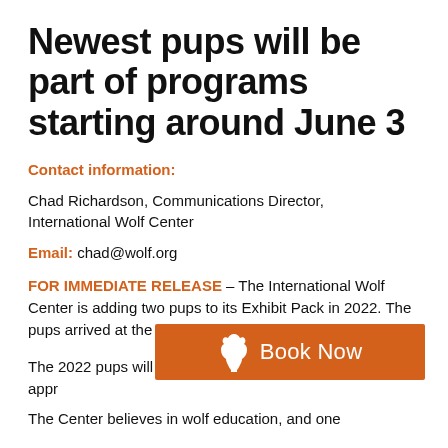Newest pups will be part of programs starting around June 3
Contact information:
Chad Richardson, Communications Director, International Wolf Center
Email: chad@wolf.org
FOR IMMEDIATE RELEASE – The International Wolf Center is adding two pups to its Exhibit Pack in 2022. The pups arrived at the Center on Tuesday, May 10.
The 2022 pups will be visible to the public starting on approximately…
[Figure (other): Orange 'Book Now' button with wolf silhouette icon and white text]
The Center believes in wolf education, and one